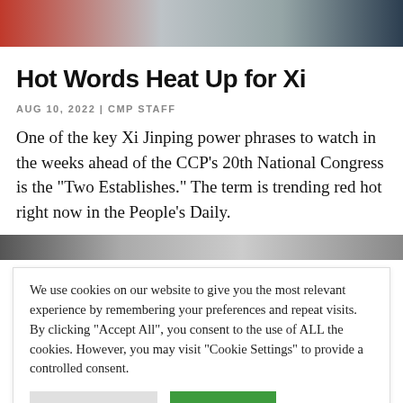[Figure (photo): Top portion of a person's head/shoulders, partially cropped at top of page]
Hot Words Heat Up for Xi
AUG 10, 2022 | CMP STAFF
One of the key Xi Jinping power phrases to watch in the weeks ahead of the CCP’s 20th National Congress is the “Two Establishes.” The term is trending red hot right now in the People’s Daily.
[Figure (photo): Second cropped image/banner below the article text]
We use cookies on our website to give you the most relevant experience by remembering your preferences and repeat visits. By clicking “Accept All”, you consent to the use of ALL the cookies. However, you may visit "Cookie Settings" to provide a controlled consent.